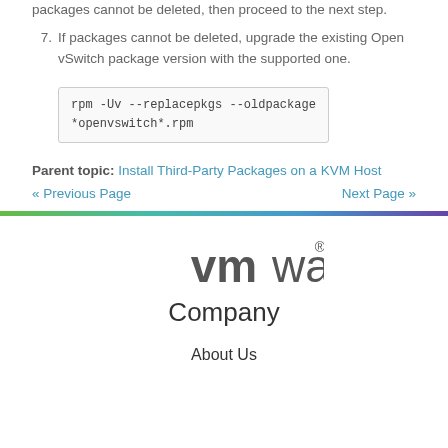packages cannot be deleted, then proceed to the next step.
7. If packages cannot be deleted, upgrade the existing Open vSwitch package version with the supported one.
rpm -Uv --replacepkgs --oldpackage *openvswitch*.rpm
Parent topic: Install Third-Party Packages on a KVM Host
« Previous Page   Next Page »
[Figure (logo): VMware company logo]
Company
About Us